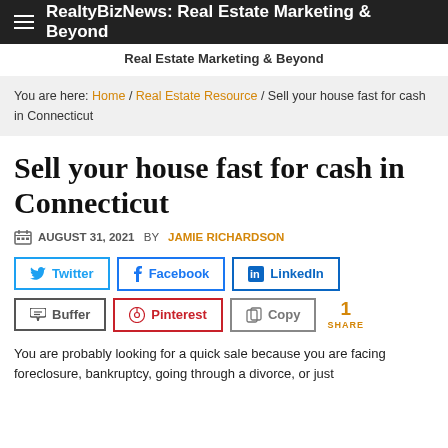RealtyBizNews: Real Estate Marketing & Beyond
Real Estate Marketing & Beyond
You are here: Home / Real Estate Resource / Sell your house fast for cash in Connecticut
Sell your house fast for cash in Connecticut
AUGUST 31, 2021 BY JAMIE RICHARDSON
[Figure (infographic): Social share buttons: Twitter, Facebook, LinkedIn, Buffer, Pinterest, Copy, with 1 SHARE count]
You are probably looking for a quick sale because you are facing foreclosure, bankruptcy, going through a divorce, or just